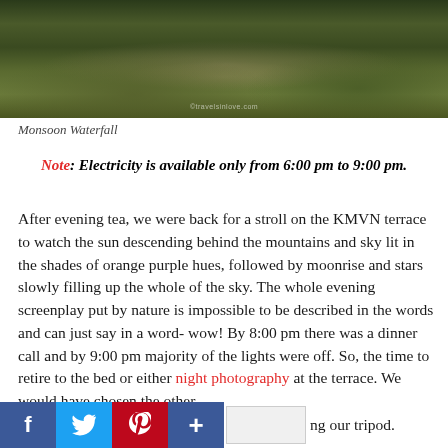[Figure (photo): Photograph of a monsoon waterfall scene showing a rocky stream bed surrounded by lush green vegetation, with a watermark visible at center bottom]
Monsoon Waterfall
Note: Electricity is available only from 6:00 pm to 9:00 pm.
After evening tea, we were back for a stroll on the KMVN terrace to watch the sun descending behind the mountains and sky lit in the shades of orange purple hues, followed by moonrise and stars slowly filling up the whole of the sky. The whole evening screenplay put by nature is impossible to be described in the words and can just say in a word- wow! By 8:00 pm there was a dinner call and by 9:00 pm majority of the lights were off. So, the time to retire to the bed or either night photography at the terrace. We would have chosen the other option but unfortunately we had forgotten to bring our tripod.